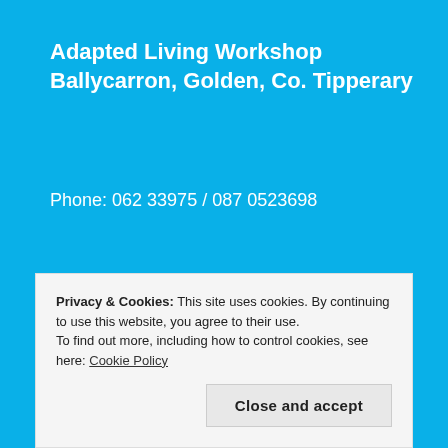Adapted Living Workshop Ballycarron, Golden, Co. Tipperary
Phone: 062 33975 / 087 0523698
Follow Us
[Figure (logo): Facebook circular logo icon in white on blue background]
Privacy & Cookies: This site uses cookies. By continuing to use this website, you agree to their use. To find out more, including how to control cookies, see here: Cookie Policy
Close and accept